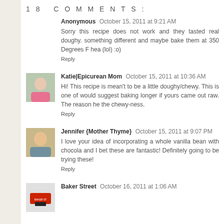18 COMMENTS:
Anonymous  October 15, 2011 at 9:21 AM
Sorry this recipe does not work and they tasted real doughy. something different and maybe bake them at 350 Degrees F hea (lol) :o)
Reply
Katie|Epicurean Mom  October 15, 2011 at 10:36 AM
Hi! This recipe is mean't to be a little doughy/chewy. This is one of would suggest baking longer if yours came out raw. The reason he the chewy-ness.
Reply
Jennifer {Mother Thyme}  October 15, 2011 at 9:07 PM
I love your idea of incorporating a whole vanilla bean with chocola and I bet these are fantastic! Definitely going to be trying these!
Reply
Baker Street  October 16, 2011 at 1:06 AM